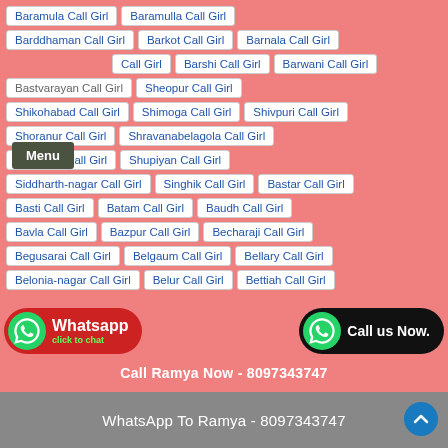Baramula Call Girl | Baramulla Call Girl
Barddhaman Call Girl | Barkot Call Girl | Barnala Call Girl
Call Girl | Barshi Call Girl | Barwani Call Girl
Bastvarayan Call Girl | Sheopur Call Girl
Shikohabad Call Girl | Shimoga Call Girl | Shivpuri Call Girl
Shoranur Call Girl | Shravanabelagola Call Girl
Shravasti Call Girl | Shupiyan Call Girl
Siddharth-nagar Call Girl | Singhik Call Girl | Bastar Call Girl
Basti Call Girl | Batam Call Girl | Baudh Call Girl
Bavla Call Girl | Bazpur Call Girl | Becharaji Call Girl
Begusarai Call Girl | Belgaum Call Girl | Bellary Call Girl
Belonia-nagar Call Girl | Belur Call Girl | Bettiah Call Girl
Whatsapp click to chat
Call us Now.
Call Ramya Now - 8097343747
WhatsApp To Ramya - 8097343747